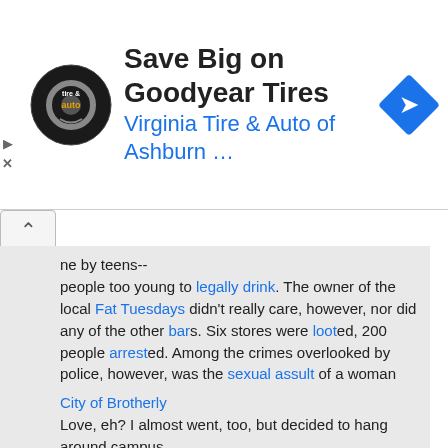[Figure (other): Advertisement banner: Virginia Tire & Auto logo (circular black badge), text 'Save Big on Goodyear Tires' and 'Virginia Tire & Auto of Ashburn …' in blue, blue diamond arrow icon on right]
ne by teens-- people too young to legally drink. The owner of the local Fat Tuesdays didn't really care, however, nor did any of the other bars. Six stores were looted, 200 people arrested. Among the crimes overlooked by police, however, was the sexual assult of a woman who had her clothes torn off her while police looked on from twenty feet away. (This was reported by ABCNews.com)
City of Brotherly Love, eh? I almost went, too, but decided to hang around campus...